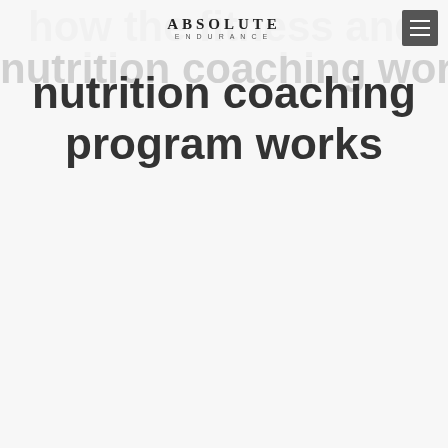ABSOLUTE ENDURANCE
how the fitness and nutrition coaching program works